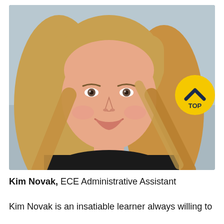[Figure (photo): Headshot photo of Kim Novak, a woman with long blonde hair, smiling, wearing a black top, against a light blue-grey background. A yellow circular badge with a dark navy chevron/caret icon and the text TOP appears in the upper-right area of the photo.]
Kim Novak, ECE Administrative Assistant
Kim Novak is an insatiable learner always willing to